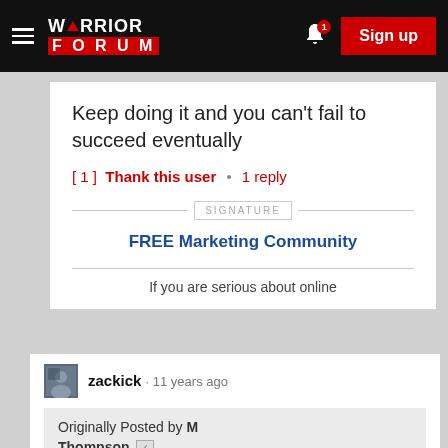[Figure (screenshot): Warrior Forum navigation bar with hamburger menu, logo, notification bell with badge '1', and red Sign up button]
Keep doing it and you can't fail to succeed eventually
[1] Thank this user • 1 reply
SIGNATURE
FREE Marketing Community
If you are serious about online
zackick · 11 years ago
Originally Posted by M Thompson